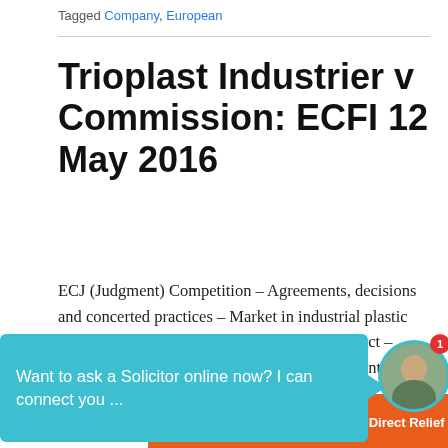Tagged Company, European
Trioplast Industrier v Commission: ECFI 12 May 2016
ECJ (Judgment) Competition – Agreements, decisions and concerted practices – Market in industrial plastic bags – Action for annulment – Challengeable act – Admissibility – Action for damages – Default interest – Concept of a debt
[Figure (screenshot): Orange Direct Relief donation banner partially overlaid on content]
[Figure (screenshot): Teal chat bubble overlay with text: Want to ask a Solicitor online now? I can connect you ... with avatar photo and red notification badge showing 1]